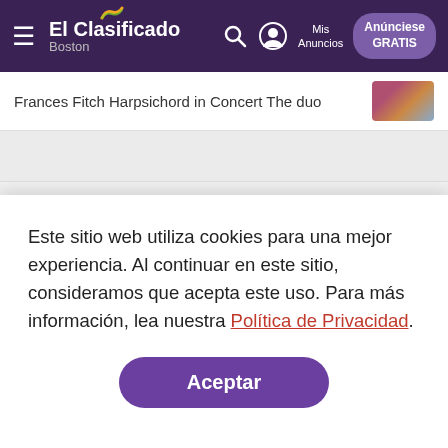ElClasificado Boston — Mis Anuncios — Anúnciese GRATIS
Frances Fitch Harpsichord in Concert The duo
Volver arriba
Este sitio web utiliza cookies para una mejor experiencia. Al continuar en este sitio, consideramos que acepta este uso. Para más información, lea nuestra Política de Privacidad.
Aceptar